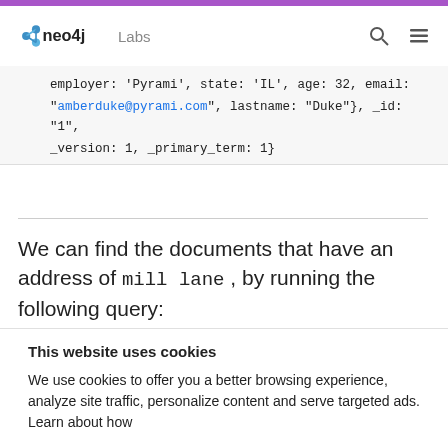neo4j Labs
employer: 'Pyrami', state: 'IL', age: 32, email: "amberduke@pyrami.com", lastname: "Duke"}, _id: "1", _version: 1, _primary_term: 1}
We can find the documents that have an address of mill lane , by running the following query:
This website uses cookies

We use cookies to offer you a better browsing experience, analyze site traffic, personalize content and serve targeted ads.  Learn about how